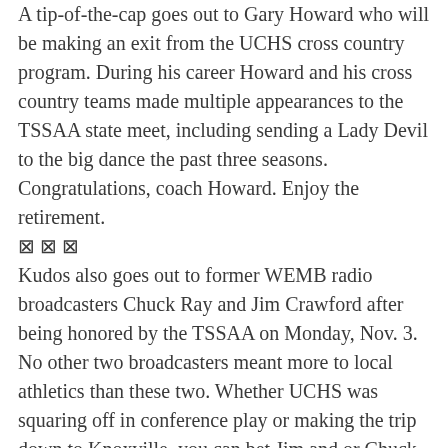A tip-of-the-cap goes out to Gary Howard who will be making an exit from the UCHS cross country program. During his career Howard and his cross country teams made multiple appearances to the TSSAA state meet, including sending a Lady Devil to the big dance the past three seasons. Congratulations, coach Howard. Enjoy the retirement.
⊠ ⊠ ⊠
Kudos also goes out to former WEMB radio broadcasters Chuck Ray and Jim Crawford after being honored by the TSSAA on Monday, Nov. 3. No other two broadcasters meant more to local athletics than these two. Whether UCHS was squaring off in conference play or making the trip down to Knoxville, you can bet Jim and or Chuck would be right along for the ride.
It was a pleasure to work alongside some of the top talent in the area and you couldn⊠t ask for better